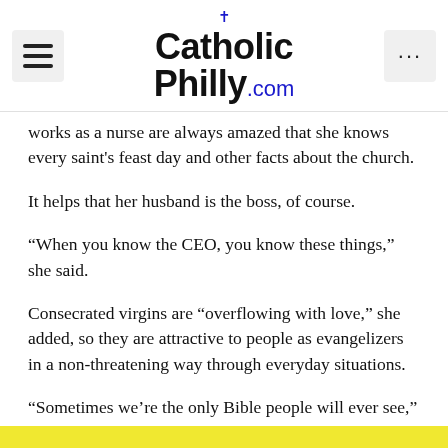CatholicPhilly.com
works as a nurse are always amazed that she knows every saint's feast day and other facts about the church.
It helps that her husband is the boss, of course.
“When you know the CEO, you know these things,” she said.
Consecrated virgins are “overflowing with love,” she added, so they are attractive to people as evangelizers in a non-threatening way through everyday situations.
“Sometimes we’re the only Bible people will ever see,” Reda said.